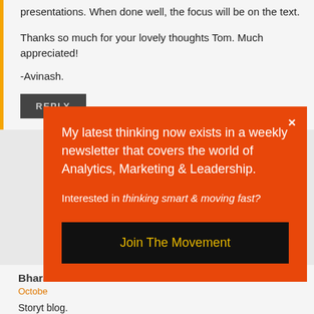presentations. When done well, the focus will be on the text.
Thanks so much for your lovely thoughts Tom. Much appreciated!
-Avinash.
REPLY
Bhara
Octobe
Storyt blog.
Thank to writ
REPL
My latest thinking now exists in a weekly newsletter that covers the world of Analytics, Marketing & Leadership.
Interested in thinking smart & moving fast?
Join The Movement